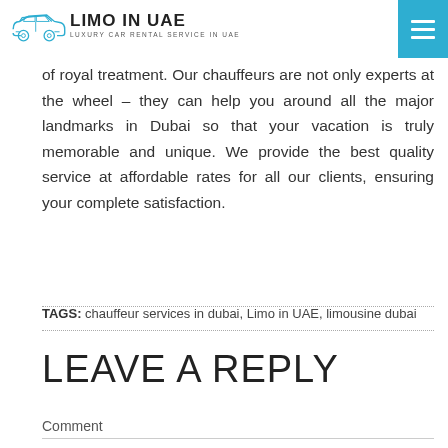[Figure (logo): Limo in UAE logo with car outline and text 'LIMO IN UAE' and subtitle 'LUXURY CAR RENTAL SERVICE IN UAE']
of royal treatment. Our chauffeurs are not only experts at the wheel – they can help you around all the major landmarks in Dubai so that your vacation is truly memorable and unique. We provide the best quality service at affordable rates for all our clients, ensuring your complete satisfaction.
TAGS: chauffeur services in dubai, Limo in UAE, limousine dubai
LEAVE A REPLY
Comment